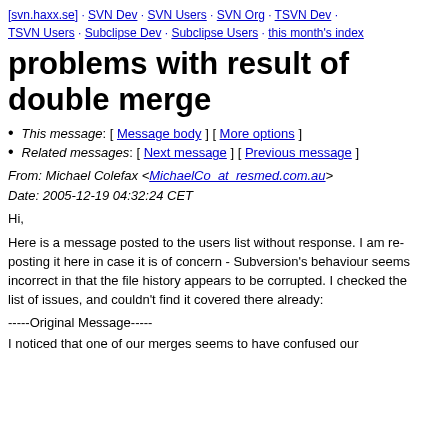[svn.haxx.se] · SVN Dev · SVN Users · SVN Org · TSVN Dev · TSVN Users · Subclipse Dev · Subclipse Users · this month's index
problems with result of double merge
This message: [ Message body ] [ More options ]
Related messages: [ Next message ] [ Previous message ]
From: Michael Colefax <MichaelCo_at_resmed.com.au>
Date: 2005-12-19 04:32:24 CET
Hi,
Here is a message posted to the users list without response. I am re-posting it here in case it is of concern - Subversion's behaviour seems
incorrect in that the file history appears to be corrupted. I checked the
list of issues, and couldn't find it covered there already:
-----Original Message-----
I noticed that one of our merges seems to have confused our